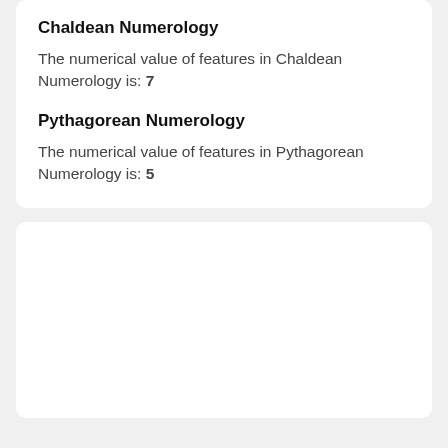Chaldean Numerology
The numerical value of features in Chaldean Numerology is: 7
Pythagorean Numerology
The numerical value of features in Pythagorean Numerology is: 5